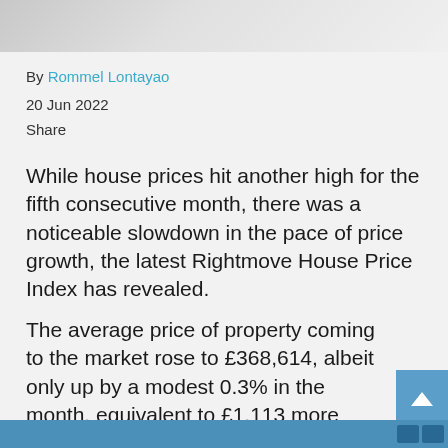[Figure (photo): Partial photo showing a white object against a light background, cropped at the top of the page]
By Rommel Lontayao
20 Jun 2022
Share
While house prices hit another high for the fifth consecutive month, there was a noticeable slowdown in the pace of price growth, the latest Rightmove House Price Index has revealed.
The average price of property coming to the market rose to £368,614, albeit only up by a modest 0.3% in the month, equivalent to £1,113 more compared to the average price of the previous month